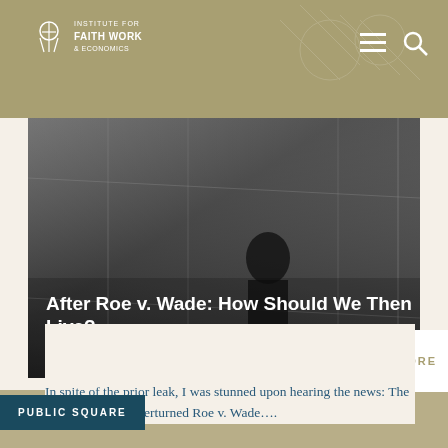INSTITUTE FOR FAITH WORK & ECONOMICS
[Figure (screenshot): Hero image showing a person in a dark corridor, black and white photo, with article title and byline overlay]
After Roe v. Wade: How Should We Then Live?
By: John Pletcher
6 minute read
READ MORE
In spite of the prior leak, I was stunned upon hearing the news: The Supreme Court overturned Roe v. Wade….
PUBLIC SQUARE